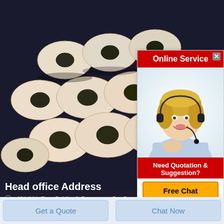[Figure (photo): Photo of ceramic/pottery beads or rings with holes, stacked in a group, against a dark background]
[Figure (infographic): Online Service popup widget with red header 'Online Service', photo of blonde woman with headset, red footer 'Need Quotation & Suggestion?', and yellow 'Free Chat' button]
Head office Address
: 10th/11th Floor, Building 6, E-commerce Port,Daxue Road,Erqi District Zhengzhou City.
: +86 15537132953
Get a Quote
Chat Now